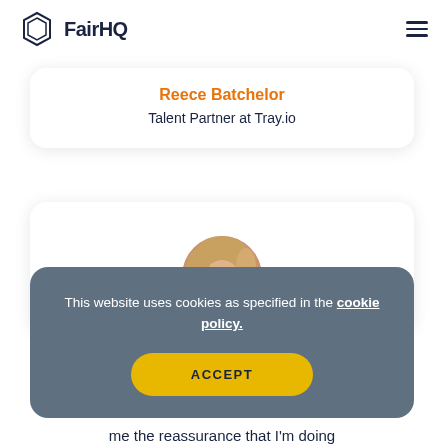FairHQ
Reece Batchelor
Talent Partner at Tray.io
[Figure (photo): Circular avatar photo of a woman with blonde hair]
This website uses cookies as specified in the cookie policy.
ACCEPT
me the reassurance that I'm doing